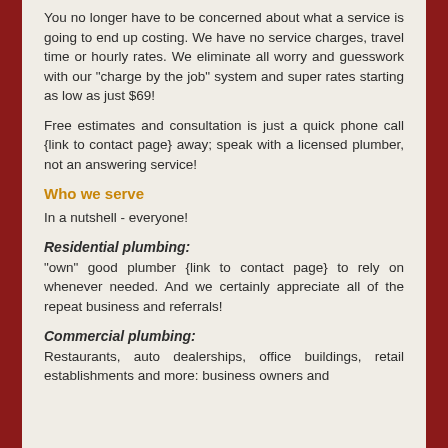You no longer have to be concerned about what a service is going to end up costing. We have no service charges, travel time or hourly rates. We eliminate all worry and guesswork with our "charge by the job" system and super rates starting as low as just $69!
Free estimates and consultation is just a quick phone call {link to contact page} away; speak with a licensed plumber, not an answering service!
Who we serve
In a nutshell - everyone!
Residential plumbing: "own" good plumber {link to contact page} to rely on whenever needed. And we certainly appreciate all of the repeat business and referrals!
Commercial plumbing: Restaurants, auto dealerships, office buildings, retail establishments and more: business owners and